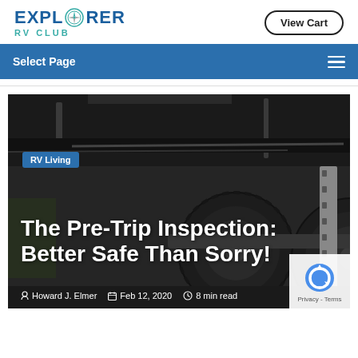[Figure (logo): Explorer RV Club logo with compass rose icon and 'View Cart' button]
Select Page
[Figure (photo): Undercarriage view of an RV showing two large tires, axle, and chassis components against dark background]
RV Living
The Pre-Trip Inspection: Better Safe Than Sorry!
Howard J. Elmer  Feb 12, 2020  8 min read